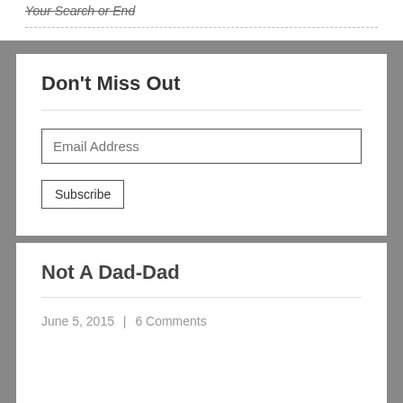Your Search or End
Don't Miss Out
Email Address
Subscribe
Not A Dad-Dad
June 5, 2015  |  6 Comments